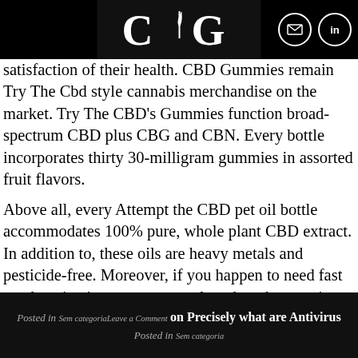CDG logo with email and linkedin icons
satisfaction of their health. CBD Gummies remain Try The Cbd style cannabis merchandise on the market. Try The CBD's Gummies function broad-spectrum CBD plus CBG and CBN. Every bottle incorporates thirty 30-milligram gummies in assorted fruit flavors.

Above all, every Attempt the CBD pet oil bottle accommodates 100% pure, whole plant CBD extract. In addition to, these oils are heavy metals and pesticide-free. Moreover, if you happen to need fast results, give it to your pet not less than three to 4 instances a day. The liquid kind is ideal validcbdoil.com/trythecbd-review for pets that are not consuming consistently. While we are impressed that they've included lab test stories on their web site for all of their products, we're disillusioned to
Posted in Sem categoria Leave a Comment on Precisely what are Antivirus Posted in Sem categoria